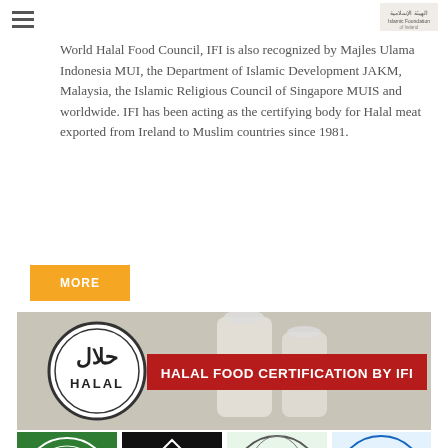As the only Irish Halal Certification Authority recognized by the World Halal Food Council, IFI is also recognized by Majles Ulama Indonesia MUI, the Department of Islamic Development JAKM, Malaysia, the Islamic Religious Council of Singapore MUIS and worldwide. IFI has been acting as the certifying body for Halal meat exported from Ireland to Muslim countries since 1981.
MORE
[Figure (photo): Banner image showing milk bottles on a wooden surface with a red banner overlay reading 'HALAL FOOD CERTIFICATION BY IFI' and a circular Halal logo on the left.]
[Figure (photo): Row of four halal certification logos: Majelis Ulama Indonesia (green circular logo), Malaysia Halal (black square with star logo), Halal Singapore MUIS (circular globe/halal logo), and World Halal Food Council (blue circular logo).]